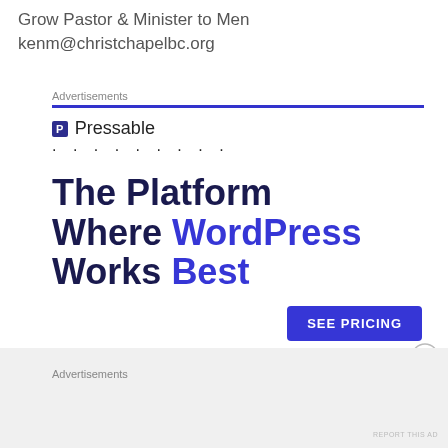Grow Pastor & Minister to Men
kenm@christchapelbc.org
Advertisements
[Figure (infographic): Pressable advertisement: logo with 'P' icon and 'Pressable' text, dotted line, headline 'The Platform Where WordPress Works Best', blue 'SEE PRICING' button, 'REPORT THIS AD' link]
REPORT THIS AD
Share this:
Advertisements
REPORT THIS AD